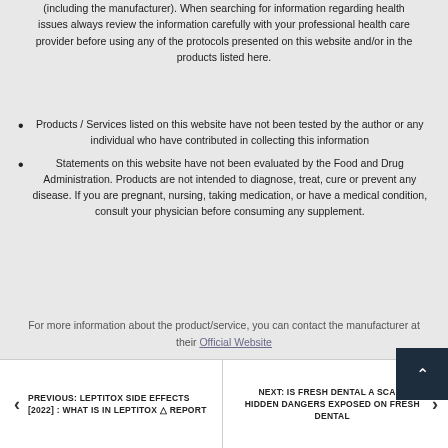(including the manufacturer). When searching for information regarding health issues always review the information carefully with your professional health care provider before using any of the protocols presented on this website and/or in the products listed here.
Products / Services listed on this website have not been tested by the author or any individual who have contributed in collecting this information
Statements on this website have not been evaluated by the Food and Drug Administration. Products are not intended to diagnose, treat, cure or prevent any disease. If you are pregnant, nursing, taking medication, or have a medical condition, consult your physician before consuming any supplement.
For more information about the product/service, you can contact the manufacturer at their Official Website
PREVIOUS: LEPTITOX SIDE EFFECTS [2022] : WHAT IS IN LEPTITOX ⚠ REPORT | NEXT: IS FRESH DENTAL A SCAM: HIDDEN DANGERS EXPOSED ON FRESH DENTAL